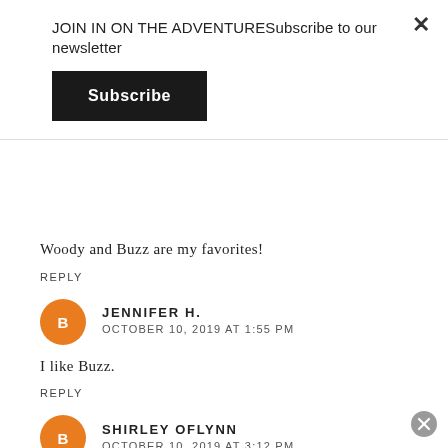JOIN IN ON THE ADVENTURESubscribe to our newsletter
Subscribe
Woody and Buzz are my favorites!
REPLY
JENNIFER H.
OCTOBER 10, 2019 AT 1:55 PM
I like Buzz.
REPLY
SHIRLEY OFLYNN
OCTOBER 10, 2019 AT 3:12 PM
woody is my favorite character.